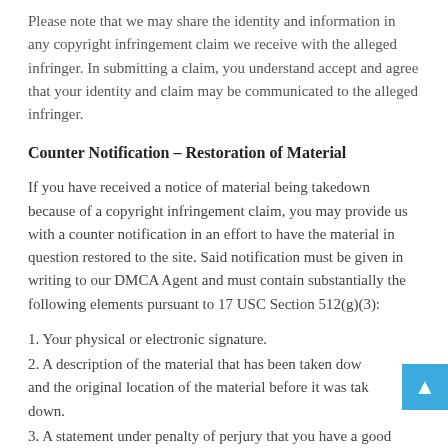Please note that we may share the identity and information in any copyright infringement claim we receive with the alleged infringer. In submitting a claim, you understand accept and agree that your identity and claim may be communicated to the alleged infringer.
Counter Notification – Restoration of Material
If you have received a notice of material being takedown because of a copyright infringement claim, you may provide us with a counter notification in an effort to have the material in question restored to the site. Said notification must be given in writing to our DMCA Agent and must contain substantially the following elements pursuant to 17 USC Section 512(g)(3):
1. Your physical or electronic signature.
2. A description of the material that has been taken down and the original location of the material before it was taken down.
3. A statement under penalty of perjury that you have a good faith belief that the material was removed or disabled as a